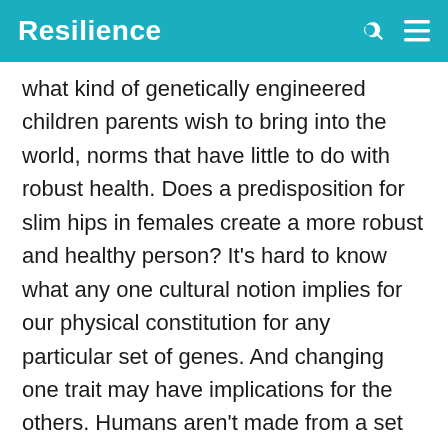Resilience
what kind of genetically engineered children parents wish to bring into the world, norms that have little to do with robust health. Does a predisposition for slim hips in females create a more robust and healthy person? It’s hard to know what any one cultural notion implies for our physical constitution for any particular set of genes. And changing one trait may have implications for the others. Humans aren’t made from a set of building blocks. They